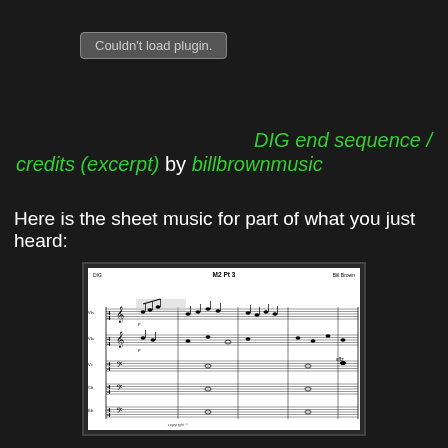[Figure (screenshot): Grey rounded button reading 'Couldn't load plugin.']
DIG end sequence / credits (excerpt) by billbrownmusic
Here is the sheet music for part of what you just heard:
[Figure (other): Sheet music excerpt titled 'M2 Pt 3' by Bill Brown for DIG, showing multiple instrument staves with musical notation.]